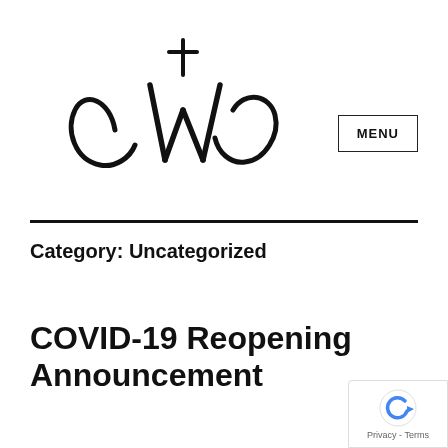[Figure (logo): CWC church logo — stylized lowercase letters cWc with a cross on top of the W]
MENU
Category: Uncategorized
COVID-19 Reopening Announcement